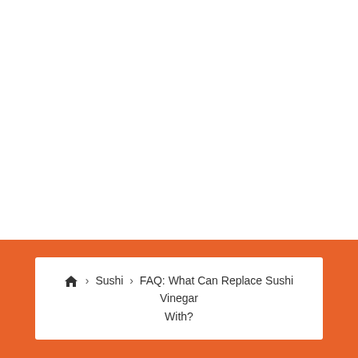🏠 > Sushi > FAQ: What Can Replace Sushi Vinegar With?